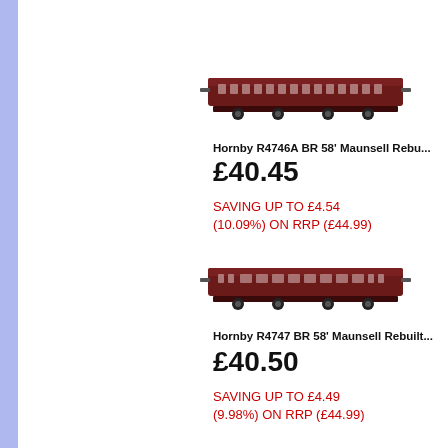[Figure (photo): Hornby R4746A BR 58' Maunsell Rebuilt (Ex-LSWR 48') Corridor Third Coach model train in dark red/maroon livery]
Hornby R4746A BR 58' Maunsell Rebu...
£40.45
SAVING UP TO £4.54 (10.09%) ON RRP (£44.99)
[Figure (photo): Hornby R4747 BR 58' Maunsell Rebuilt coach model train in dark red/maroon livery]
Hornby R4747 BR 58' Maunsell Rebuilt...
£40.50
SAVING UP TO £4.49 (9.98%) ON RRP (£44.99)